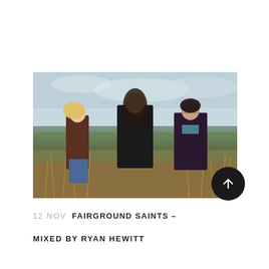[Figure (photo): Three young musicians standing in an outdoor field setting with dry grass and a pale sky. From left: a blonde woman in a brown leather jacket and jeans, a man in dark clothing with long hair, and a young man in a plaid jacket.]
12 NOV  FAIRGROUND SAINTS –
MIXED BY RYAN HEWITT